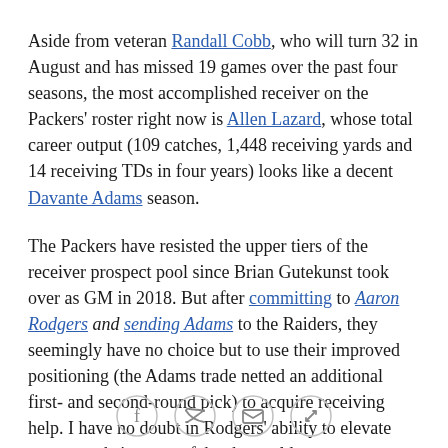Aside from veteran Randall Cobb, who will turn 32 in August and has missed 19 games over the past four seasons, the most accomplished receiver on the Packers' roster right now is Allen Lazard, whose total career output (109 catches, 1,448 receiving yards and 14 receiving TDs in four years) looks like a decent Davante Adams season.
The Packers have resisted the upper tiers of the receiver prospect pool since Brian Gutekunst took over as GM in 2018. But after committing to Aaron Rodgers and sending Adams to the Raiders, they seemingly have no choice but to use their improved positioning (the Adams trade netted an additional first- and second-round pick) to acquire receiving help. I have no doubt in Rodgers' ability to elevate any roster he's a part of, but he could
[Figure (other): Social sharing icons: Facebook, Twitter, Email, Link]